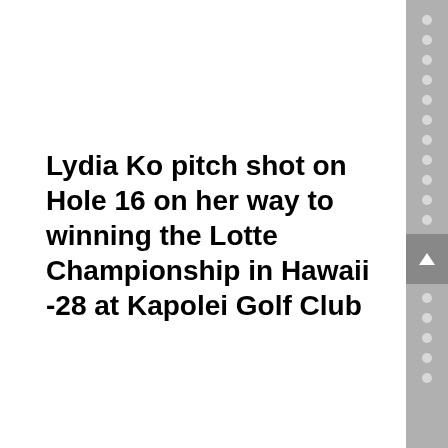Lydia Ko pitch shot on Hole 16 on her way to winning the Lotte Championship in Hawaii -28 at Kapolei Golf Club